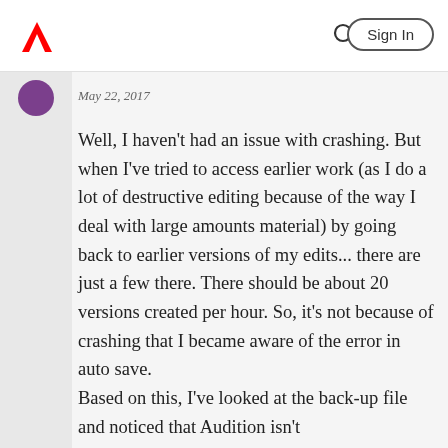Adobe | Sign In
May 22, 2017
Well, I haven't had an issue with crashing. But when I've tried to access earlier work (as I do a lot of destructive editing because of the way I deal with large amounts material) by going back to earlier versions of my edits... there are just a few there. There should be about 20 versions created per hour. So, it's not because of crashing that I became aware of the error in auto save.
Based on this, I've looked at the back-up file and noticed that Audition isn't